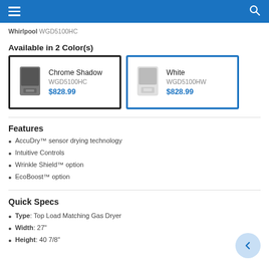Whirlpool WGD5100HC
Available in 2 Color(s)
[Figure (illustration): Two product color option cards side by side. Left card (selected, black border): Chrome Shadow, WGD5100HC, $828.99. Right card (blue border): White, WGD5100HW, $828.99.]
Features
AccuDry™ sensor drying technology
Intuitive Controls
Wrinkle Shield™ option
EcoBoost™ option
Quick Specs
Type: Top Load Matching Gas Dryer
Width: 27"
Height: 40 7/8"